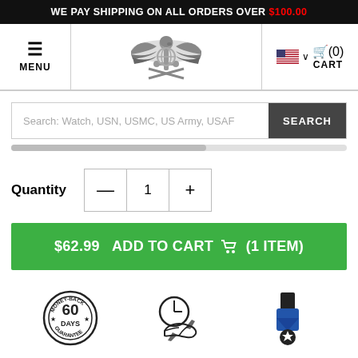WE PAY SHIPPING ON ALL ORDERS OVER $100.00
[Figure (logo): Military insignia logo with eagle, anchor, globe, and crossed rifles/swords]
MENU
(0) CART
Search: Watch, USN, USMC, US Army, USAF
Quantity  —  1  +
$62.99  ADD TO CART  (1 ITEM)
[Figure (illustration): 60 Days Money-Back Guarantee badge]
[Figure (illustration): Fast shipping globe/clock icon]
[Figure (illustration): Military medal/award icon]